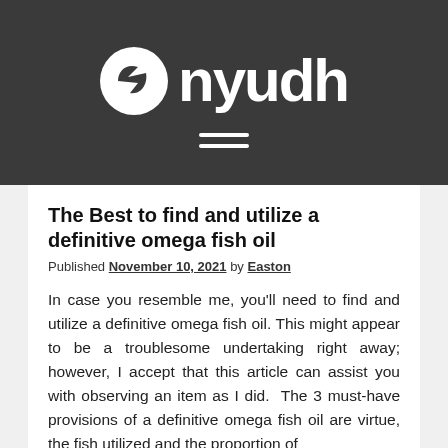[Figure (logo): Nyudh logo with bird icon and stylized text 'nyudh' in white on dark grey background, with hamburger menu icon below]
The Best to find and utilize a definitive omega fish oil
Published November 10, 2021 by Easton
In case you resemble me, you'll need to find and utilize a definitive omega fish oil. This might appear to be a troublesome undertaking right away; however, I accept that this article can assist you with observing an item as I did.  The 3 must-have provisions of a definitive omega fish oil are virtue, the fish utilized and the proportion of